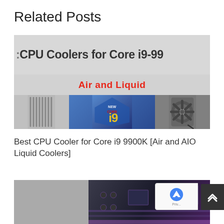Related Posts
[Figure (photo): Banner image for CPU cooler article showing text 'CPU Coolers for Core i9-99' and 'Air and Liquid' in red, with images of a radiator heatsink, Intel Core i9 processor, and an AIO liquid cooler fan]
Best CPU Cooler for Core i9 9900K [Air and AIO Liquid Coolers]
[Figure (photo): Partial image of a gaming motherboard with purple/dark color scheme, partially cropped]